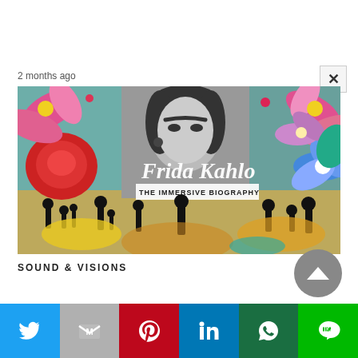2 months ago
[Figure (photo): Promotional image for 'Frida Kahlo – The Immersive Biography' showing a black-and-white portrait of Frida Kahlo surrounded by colorful painted flowers, with silhouettes of visitors in an immersive exhibition space below. The text 'Frida Kahlo' appears in cursive script and 'THE IMMERSIVE BIOGRAPHY' in block letters.]
SOUND & VISIONS